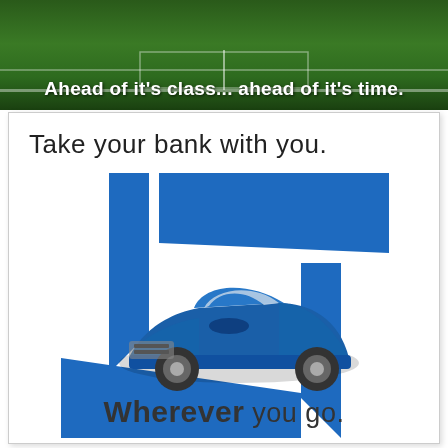[Figure (photo): Top banner with green football field/grass background and white text overlay]
Ahead of it's class... ahead of it's time.
Take your bank with you.
[Figure (logo): Chase bank pinwheel logo in blue with a blue sports car illustration overlaid in the center, forming a rotating square/pinwheel shape made of four blue parallelogram shapes]
Wherever you go.